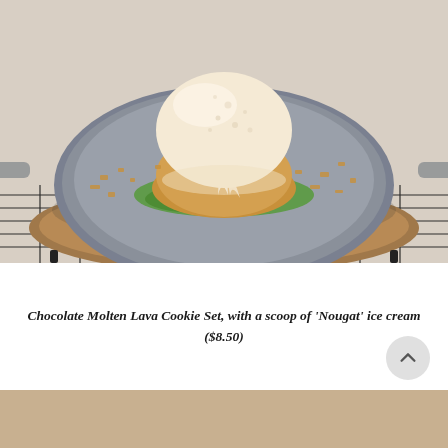[Figure (photo): A molten lava cookie in a round gray skillet/pan placed on a wire rack over a round cork trivet. The cookie has green molten filling oozing out, topped with a large scoop of nougat ice cream that is beginning to melt. Scattered nut crumbles on the pan around the cookie. Close-up food photography with light background.]
Chocolate Molten Lava Cookie Set, with a scoop of 'Nougat' ice cream ($8.50)
[Figure (photo): Partial/cropped view of another food item at the bottom of the page, blurred and partially visible in red/pink tones.]